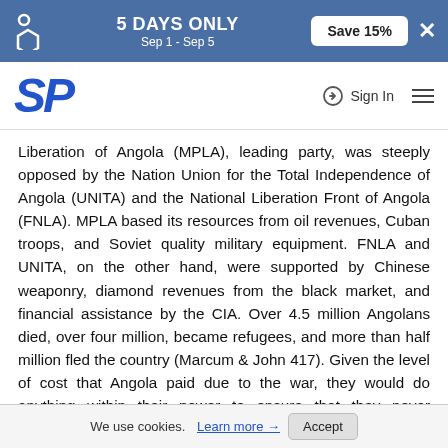5 DAYS ONLY Sep 1 - Sep 5 Save 15%
SP Sign In
Liberation of Angola (MPLA), leading party, was steeply opposed by the Nation Union for the Total Independence of Angola (UNITA) and the National Liberation Front of Angola (FNLA). MPLA based its resources from oil revenues, Cuban troops, and Soviet quality military equipment. FNLA and UNITA, on the other hand, were supported by Chinese weaponry, diamond revenues from the black market, and financial assistance by the CIA. Over 4.5 million Angolans died, over four million, became refugees, and more than half million fled the country (Marcum & John 417). Given the level of cost that Angola paid due to the war, they would do anything within their power to ensure that they never experience the same. The fight against terrorism, therefore, is an obvious way of
We use cookies. Learn more → Accept